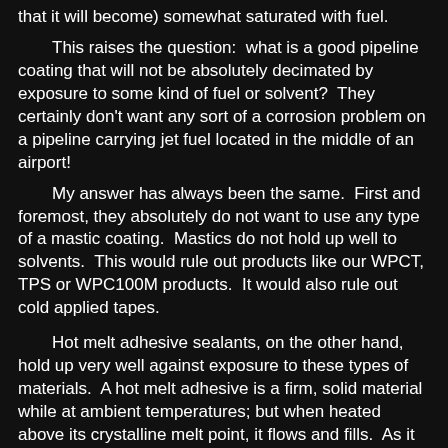that it will become) somewhat saturated with fuel.
This raises the question:  what is a good pipeline coating that will not be absolutely decimated by exposure to some kind of fuel or solvent?  They certainly don't want any sort of a corrosion problem on a pipeline carrying jet fuel located in the middle of an airport!
My answer has always been the same.  First and foremost, they absolutely do not want to use any type of a mastic coating.  Mastics do not hold up well to solvents.  This would rule out products like our WPCT, TPS or WPC100M products.  It would also rule out cold applied tapes.
Hot melt adhesive sealants, on the other hand, hold up very well against exposure to these types of materials.  A hot melt adhesive is a firm, solid material while at ambient temperatures; but when heated above its crystalline melt point, it flows and fills.  As it cools again, it hardens again.  While it  is in its hardened state, it is very resistant to chemical influences and has been used often in airport type applications.